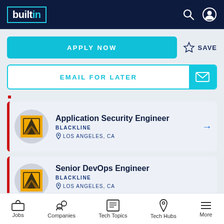builtin
APPLY NOW
SAVE
EMAIL FOR LATER
Application Security Engineer
BLACKLINE
LOS ANGELES, CA
Senior DevOps Engineer
BLACKLINE
LOS ANGELES, CA
Jobs  Companies  Tech Topics  Tech Hubs  More